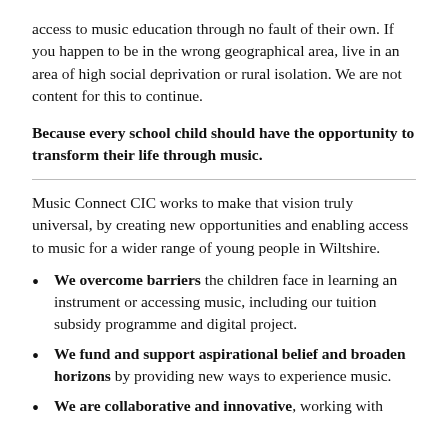access to music education through no fault of their own. If you happen to be in the wrong geographical area, live in an area of high social deprivation or rural isolation. We are not content for this to continue.
Because every school child should have the opportunity to transform their life through music.
Music Connect CIC works to make that vision truly universal, by creating new opportunities and enabling access to music for a wider range of young people in Wiltshire.
We overcome barriers the children face in learning an instrument or accessing music, including our tuition subsidy programme and digital project.
We fund and support aspirational belief and broaden horizons by providing new ways to experience music.
We are collaborative and innovative, working with